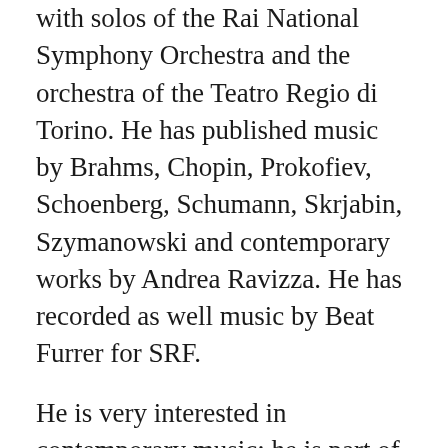with solos of the Rai National Symphony Orchestra and the orchestra of the Teatro Regio di Torino. He has published music by Brahms, Chopin, Prokofiev, Schoenberg, Schumann, Skrjabin, Szymanowski and contemporary works by Andrea Ravizza. He has recorded as well music by Beat Furrer for SRF.
He is very interested in contemporary music: he is part of the Sonic Space Basel and has performed on various occasions in chamber and solo ensembles, doing also many prémieres and collaborating with important composers of our time like Beat Furrer, Enno Poppe, Johannes Kreidler. He premiered the piece "ti emble the and of thou published the...